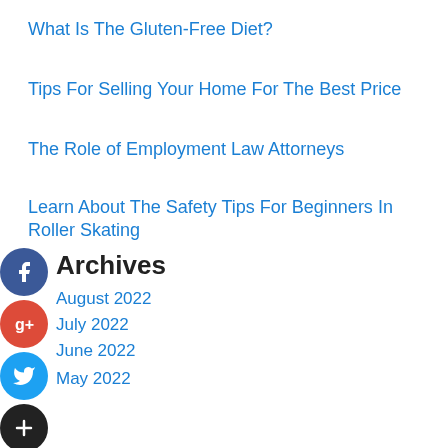What Is The Gluten-Free Diet?
Tips For Selling Your Home For The Best Price
The Role of Employment Law Attorneys
Learn About The Safety Tips For Beginners In Roller Skating
Archives
August 2022
July 2022
June 2022
May 2022